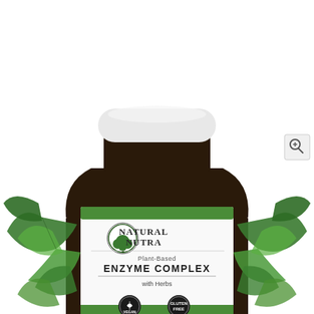[Figure (photo): Product photo of Natural Nutra Plant-Based Enzyme Complex with Herbs supplement bottle. Dark amber glass jar with white cap, featuring a white label with green tropical leaf design. Label shows the Natural Nutra logo (tree icon), product name 'Plant-Based Enzyme Complex with Herbs', and two badges: Vegan and Gluten Free. Background is white.]